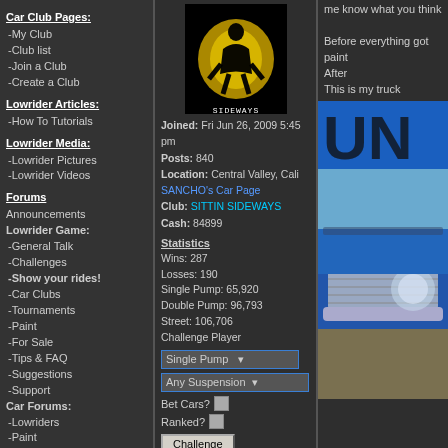Car Club Pages:
-My Club
-Club list
-Join a Club
-Create a Club
Lowrider Articles:
-How To Tutorials
Lowrider Media:
-Lowrider Pictures
-Lowrider Videos
Forums
Announcements
Lowrider Game:
-General Talk
-Challenges
-Show your rides!
-Car Clubs
-Tournaments
-Paint
-For Sale
-Tips & FAQ
-Suggestions
-Support
Car Forums:
-Lowriders
-Paint
-Hydraulics
-Interiors
-Car Modifications
-Engine
-Sounds & Interior
-Rims & Tires
-Car Shows
-Cars and Projects
[Figure (illustration): Profile avatar: silhouette of a person on yellow/black background with text SIDEWAYS below]
Joined: Fri Jun 26, 2009 5:45 pm
Posts: 840
Location: Central Valley, Cali
SANCHO's Car Page
Club: SITTIN SIDEWAYS
Cash: 84899
Statistics
Wins: 287
Losses: 190
Single Pump: 65,920
Double Pump: 96,793
Street: 106,706
Challenge Player
me know what you think
Before everything got paint
After
This is my truck
[Figure (photo): Blue graphic with large UN text in black distressed font, then a photo of a blue lowrider truck front end close-up in a junkyard/outdoor setting]